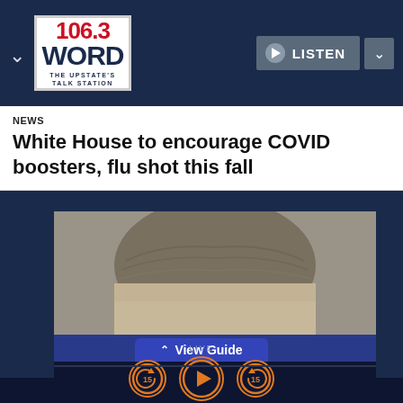[Figure (logo): 106.3 WORD - The Upstate's Talk Station radio station logo]
LISTEN
NEWS
White House to encourage COVID boosters, flu shot this fall
[Figure (photo): Close-up photo of a middle-aged man with gray hair, top of head and forehead visible]
View Guide
LIVE
Ground Zero With Clyde Lewis